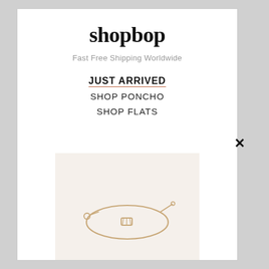shopbop
Fast Free Shipping Worldwide
JUST ARRIVED
SHOP PONCHO
SHOP FLATS
[Figure (photo): Gold bracelet with small decorative charm on a light beige/cream background]